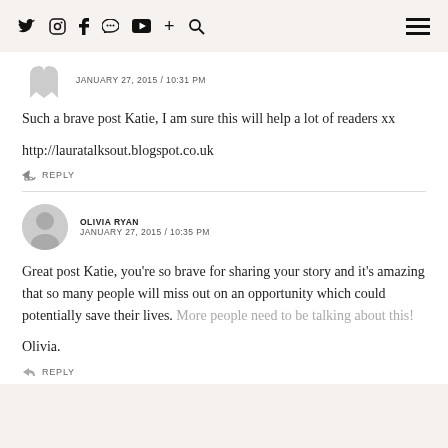Twitter Instagram Facebook Pinterest YouTube + Search | Menu
JANUARY 27, 2015 / 10:31 PM
Such a brave post Katie, I am sure this will help a lot of readers xx
http://lauratalksout.blogspot.co.uk
↩ REPLY
OLIVIA RYAN
JANUARY 27, 2015 / 10:35 PM
Great post Katie, you're so brave for sharing your story and it's amazing that so many people will miss out on an opportunity which could potentially save their lives. More people need to be talking about this!
Olivia.
↩ REPLY